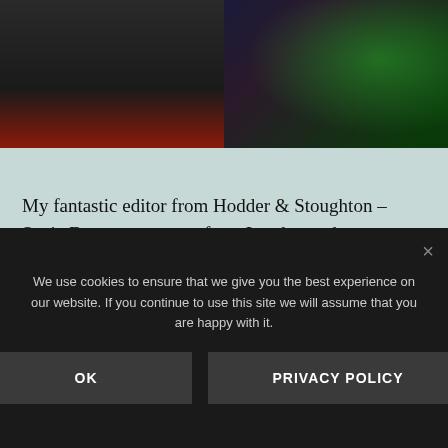[Figure (photo): Top portion of a photograph showing two people at an event — left side shows a person in dark clothing against a red background, right side shows a person in a patterned dark dress against a green background]
My fantastic editor from Hodder & Stoughton – Suzie Doore – came up from London and gave a speech to introduce me. She was so kind as to say how fussy she is as an editor and how few books she takes on. Here we are discussing which reading I should do:
[Figure (photo): Bottom portion of another photograph, partially visible, dark/blue tones]
We use cookies to ensure that we give you the best experience on our website. If you continue to use this site we will assume that you are happy with it.
OK
PRIVACY POLICY